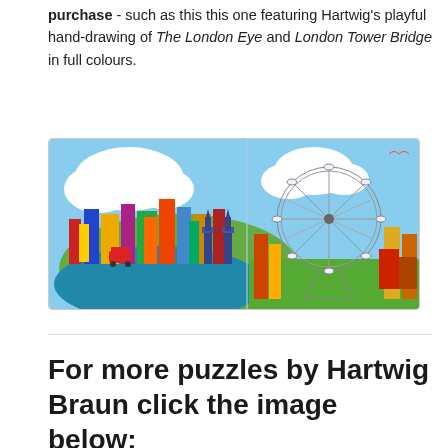purchase - such as this this one featuring Hartwig's playful hand-drawing of The London Eye and London Tower Bridge in full colours.
[Figure (illustration): A colorful panoramic puzzle/book showing Hartwig Braun's hand-drawn illustrations of London landmarks including The London Eye (ferris wheel) on the right side and London Tower Bridge area with dense colorful cityscape on the left side, all on a light blue sky background.]
For more puzzles by Hartwig Braun click the image below: